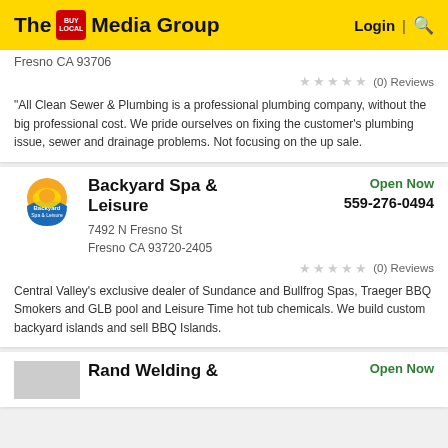The Buy Local Media Group | Login | Search
Fresno CA 93706
(0) Reviews
"All Clean Sewer & Plumbing is a professional plumbing company, without the big professional cost. We pride ourselves on fixing the customer's plumbing issue, sewer and drainage problems. Not focusing on the up sale.
Backyard Spa & Leisure
Open Now
559-276-0494
7492 N Fresno St
Fresno CA 93720-2405
(0) Reviews
Central Valley's exclusive dealer of Sundance and Bullfrog Spas, Traeger BBQ Smokers and GLB pool and Leisure Time hot tub chemicals. We build custom backyard islands and sell BBQ Islands.
Rand Welding &
Open Now